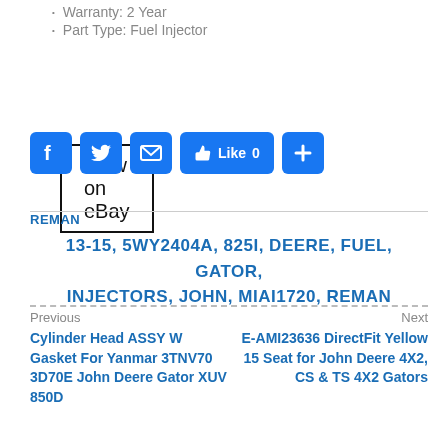Warranty: 2 Year
Part Type: Fuel Injector
[Figure (other): View on eBay button — black bordered rectangle with text]
[Figure (other): Social sharing bar: Facebook, Twitter, Email, Like 0, Plus buttons]
REMAN
13-15, 5WY2404A, 825I, DEERE, FUEL, GATOR, INJECTORS, JOHN, MIAI1720, REMAN
Previous
Next
Cylinder Head ASSY W Gasket For Yanmar 3TNV70 3D70E John Deere Gator XUV 850D
E-AMI23636 DirectFit Yellow 15 Seat for John Deere 4X2, CS & TS 4X2 Gators
[Figure (other): Search input box with placeholder text 'Search ...']